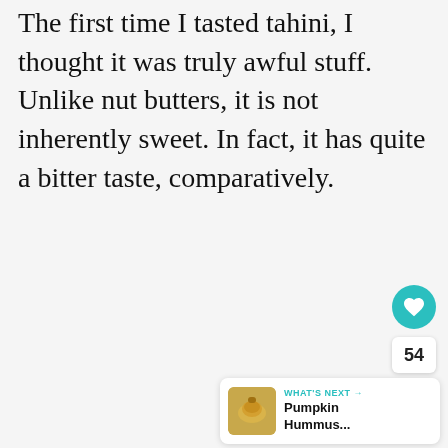The first time I tasted tahini, I thought it was truly awful stuff. Unlike nut butters, it is not inherently sweet. In fact, it has quite a bitter taste, comparatively.
[Figure (infographic): Heart/like button (teal circle with heart icon), count of 54, share button (white circle with share icon)]
[Figure (infographic): What's Next card with thumbnail image of pumpkin hummus, label 'WHAT'S NEXT →', title 'Pumpkin Hummus...']